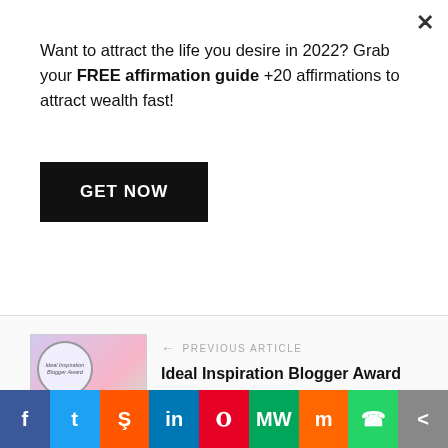Want to attract the life you desire in 2022? Grab your FREE affirmation guide +20 affirmations to attract wealth fast!
GET NOW
← PREVIOUS ARTICLE
Ideal Inspiration Blogger Award
NEXT ARTICLE →
50 POWERFUL DAILY AFFIRMATIONS FOR EVERY AREA OF YOUR LIFE
[Figure (illustration): Ideal Inspiration Blogger Award thumbnail with pink rose and circular badge]
[Figure (photo): 50 Powerful Daily Affirmations book cover with woman looking through window]
Social share icons: Facebook, Twitter, Reddit, LinkedIn, Pinterest, MeWe, Mix, WhatsApp, More